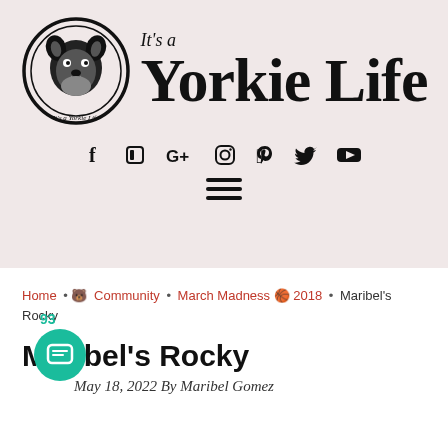[Figure (logo): It's a Yorkie Life website header with circular Yorkie dog logo and large bold text 'It's a Yorkie Life']
[Figure (infographic): Social media icons row: Facebook, Flickr, Google+, Instagram, Pinterest, Twitter, YouTube]
[Figure (other): Hamburger navigation menu icon (three horizontal bars)]
Home • 🐻 Community • March Madness 🏀 2018 • Maribel's Rocky
Maribel's Rocky
May 18, 2022 By Maribel Gomez